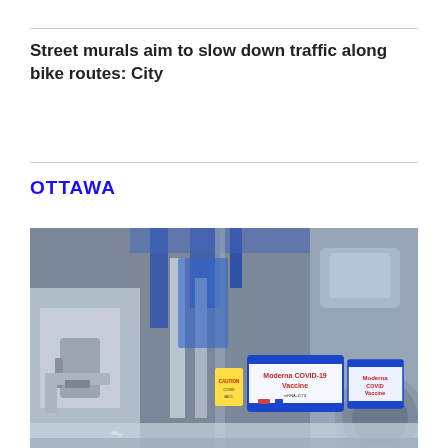Street murals aim to slow down traffic along bike routes: City
OTTAWA
[Figure (photo): Industrial machinery manufacturing line with a box of Moderna COVID-19 Vaccine visible on a metallic conveyor surface, surrounded by blue and silver mechanical equipment.]